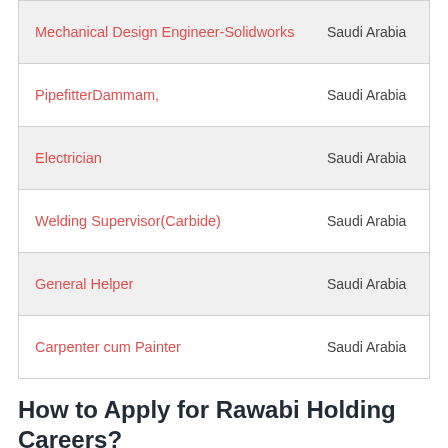| Job Title | Location |
| --- | --- |
| Mechanical Design Engineer-Solidworks | Saudi Arabia |
| PipefitterDammam, | Saudi Arabia |
| Electrician | Saudi Arabia |
| Welding Supervisor(Carbide) | Saudi Arabia |
| General Helper | Saudi Arabia |
| Carpenter cum Painter | Saudi Arabia |
How to Apply for Rawabi Holding Careers?
Please apply for Rawabi Holding Jobs Vacancy from the above list.